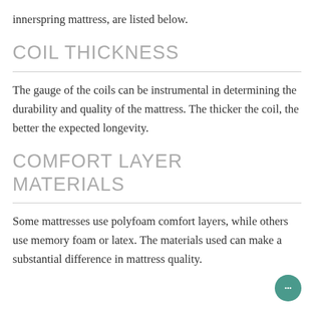innerspring mattress, are listed below.
COIL THICKNESS
The gauge of the coils can be instrumental in determining the durability and quality of the mattress. The thicker the coil, the better the expected longevity.
COMFORT LAYER MATERIALS
Some mattresses use polyfoam comfort layers, while others use memory foam or latex. The materials used can make a substantial difference in mattress quality.